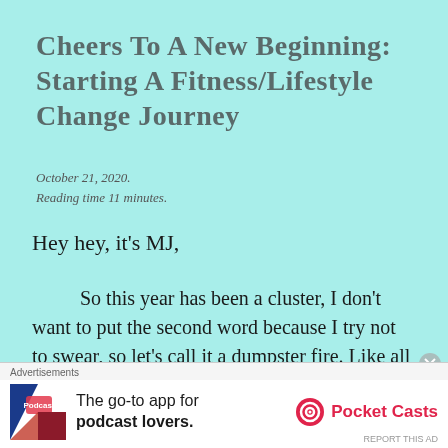Cheers To A New Beginning: Starting A Fitness/Lifestyle Change Journey
October 21, 2020.
Reading time 11 minutes.
Hey hey, it's MJ,
So this year has been a cluster, I don't want to put the second word because I try not to swear, so let's call it a dumpster fire. Like all around just a mess and that means that any plans that we had this year have all gone out the window. Social distance, wear a mask, wash your
[Figure (other): Advertisement banner for Pocket Casts - a podcast app. Shows the text 'The go-to app for podcast lovers.' with Pocket Casts logo and branding imagery.]